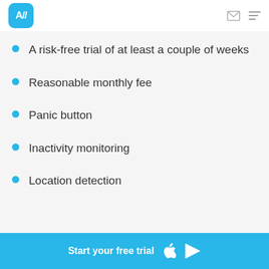A//
A risk-free trial of at least a couple of weeks
Reasonable monthly fee
Panic button
Inactivity monitoring
Location detection
Start your free trial